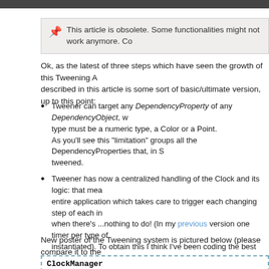This article is obsolete. Some functionalities might not work anymore. Co
Ok, as the latest of three steps which have seen the growth of this Tweening A described in this article is some sort of basic/ultimate version, up to this point:
Tweener can target any DependencyProperty of any DependencyObject, w type must be a numeric type, a Color or a Point. As you'll see this "limitation" groups all the DependencyProperties that, in S tweened.
Tweener has now a centralized handling of the Clock and its logic: that mea entire application which takes care to trigger each changing step of each in when there's ...nothing to do! (In my previous version one timer per type of instantiated). To obtain this I think I've been coding the best polymorphic ob fun!
Tweener can handle Stop, Pause, Resume and Rewind actions. That gives tweened object. Specific handlers can be attached to listen to the key events that a tween b important and suggestive one).
New poster of the Tweening system is pictured below (please compare it to the grew since its very beginning).
[Figure (other): ClockManager diagram box with dashed border]